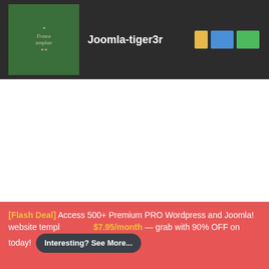Joomla-tiger3r
[Figure (logo): Green square logo with decorative script text and floral ornament for Joomla-tiger3r website]
[Flash Deal] Access 500+ Premium PRO Wordpress and Joomla! website templates just $7.95/month — grab with 90% OFF on today! Interesting? See More...